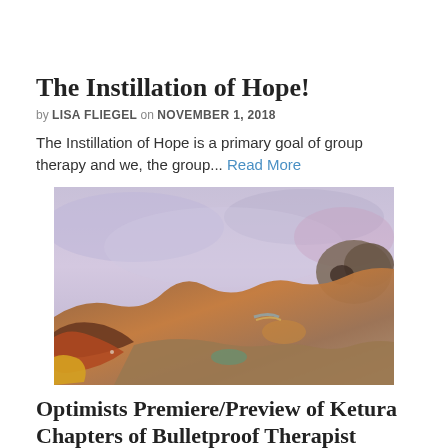The Instillation of Hope!
by LISA FLIEGEL on NOVEMBER 1, 2018
The Instillation of Hope is a primary goal of group therapy and we, the group... Read More
[Figure (illustration): Watercolor painting of an abstract landscape with earthy brown and orange tones in the foreground and soft lavender and grey tones in the sky/background.]
Optimists Premiere/Preview of Ketura Chapters of Bulletproof Therapist